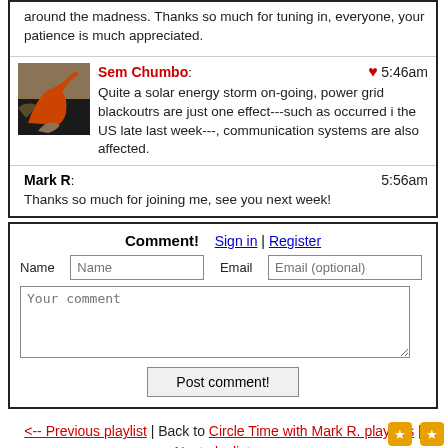around the madness. Thanks so much for tuning in, everyone, your patience is much appreciated.
Sem Chumbo: ♥ 5:46am
Quite a solar energy storm on-going, power grid blackoutrs are just one effect---such as occurred i the US late last week---, communication systems are also affected.
Mark R: 5:56am
Thanks so much for joining me, see you next week!
Comment! Sign in | Register
Name [Name] Email [Email (optional)]
[Your comment]
[Post comment!]
<-- Previous playlist | Back to Circle Time with Mark R. playlists | Next playlist -->